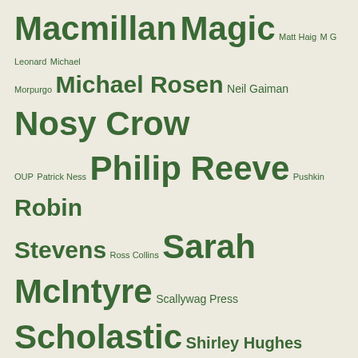Macmillan Magic Matt Haig M G Leonard Michael Morpurgo Michael Rosen Neil Gaiman Nosy Crow OUP Patrick Ness Philip Reeve Pushkin Robin Stevens Ross Collins Sarah McIntyre Scallywag Press Scholastic Shirley Hughes Simon & Schuster Steve Lenton Tracey Corderoy Usborne Walker Books witches
Subscribe by Email
Completely spam free, opt out any time.
ex: someone@mydomain.com
This form is protected by reCAPTCHA and the Google Privacy Policy and Terms of Service apply.